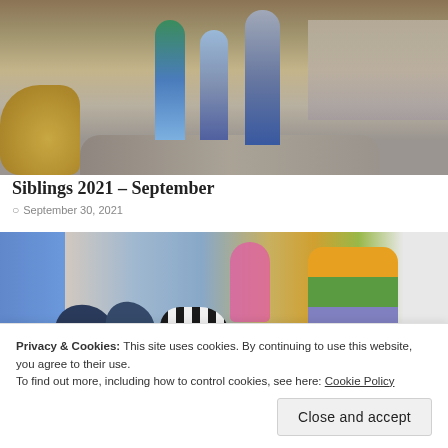[Figure (photo): Children standing outdoors at what appears to be a zoo or farm, with hay bales on the left and a crowd in the background. Three children/people visible standing on a log or raised surface.]
Siblings 2021 – September
September 30, 2021
[Figure (photo): Close-up of toy animals and colorful stacked cups on a table. Visible toys include dinosaur figurines, a zebra, and brightly colored stacking cups in yellow, green, brown/striped. A person in pink and blue curtain visible in background.]
Privacy & Cookies: This site uses cookies. By continuing to use this website, you agree to their use.
To find out more, including how to control cookies, see here: Cookie Policy